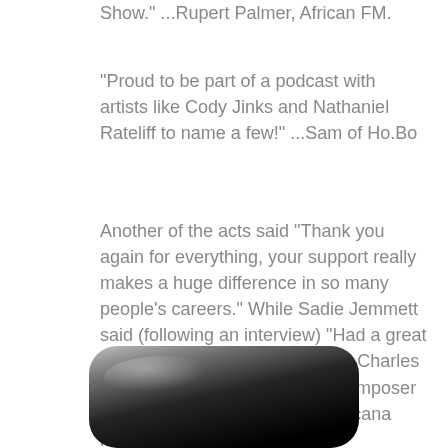Show." ...Rupert Palmer, African FM.
"Proud to be part of a podcast with artists like Cody Jinks and Nathaniel Rateliff to name a few!" ...Sam of Ho.Bo
Another of the acts said "Thank you again for everything, your support really makes a huge difference in so many people's careers." While Sadie Jemmett said (following an interview) "Had a great time chatting with the wonderful Charles Christian about my work as a composer and songwriter on his fab Americana music show."
[Figure (illustration): Bottom portion of a rounded black device (likely a smartphone or media player) shown from the top, with a gradient from light gray to black and a subtle sheen highlight.]